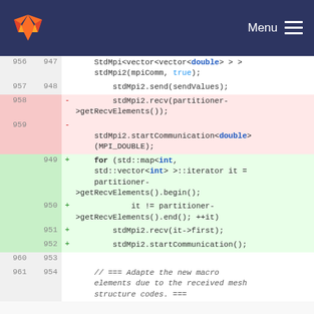GitLab — Menu
[Figure (screenshot): GitLab code diff view showing C++ source code changes around MPI communication and partitioner recv elements]
956 947   StdMpi<vector<vector<double> > > stdMpi2(mpiComm, true);
957 948   stdMpi2.send(sendValues);
958 - stdMpi2.recv(partitioner->getRecvElements());
959 - stdMpi2.startCommunication<double>(MPI_DOUBLE);
 949 + for (std::map<int, std::vector<int> >::iterator it = partitioner->getRecvElements().begin();
 950 + it != partitioner->getRecvElements().end(); ++it)
 951 + stdMpi2.recv(it->first);
 952 + stdMpi2.startCommunication();
960 953
961 954   // === Adapte the new macro elements due to the received mesh structure codes. ===